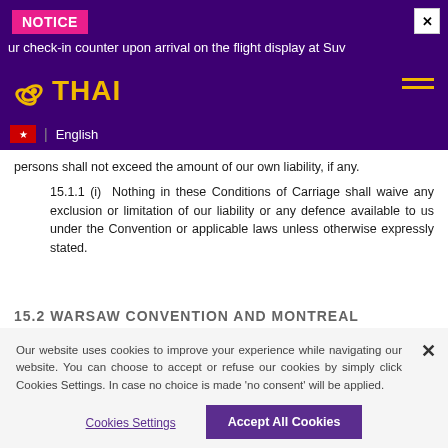NOTICE
ur check-in counter upon arrival on the flight display at Suv
[Figure (logo): Thai Airways logo with stylized orchid symbol and THAI text in gold/yellow on purple background]
English
persons shall not exceed the amount of our own liability, if any.
15.1.1 (i) Nothing in these Conditions of Carriage shall waive any exclusion or limitation of our liability or any defence available to us under the Convention or applicable laws unless otherwise expressly stated.
15.2 WARSAW CONVENTION AND MONTREAL
Our website uses cookies to improve your experience while navigating our website. You can choose to accept or refuse our cookies by simply click Cookies Settings. In case no choice is made 'no consent' will be applied.
Cookies Settings
Accept All Cookies